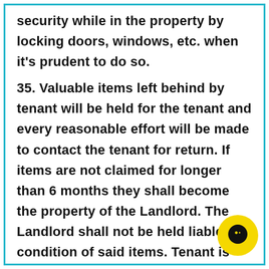security while in the property by locking doors, windows, etc. when it's prudent to do so.
35. Valuable items left behind by tenant will be held for the tenant and every reasonable effort will be made to contact the tenant for return. If items are not claimed for longer than 6 months they shall become the property of the Landlord. The Landlord shall not be held liable for condition of said items. Tenant is responsible for the